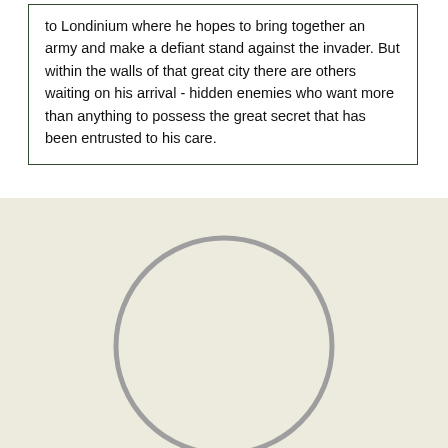to Londinium where he hopes to bring together an army and make a defiant stand against the invader. But within the walls of that great city there are others waiting on his arrival - hidden enemies who want more than anything to possess the great secret that has been entrusted to his care.
[Figure (illustration): A large circle outline drawn in gray on a beige/cream background, centered in the lower portion of the page.]